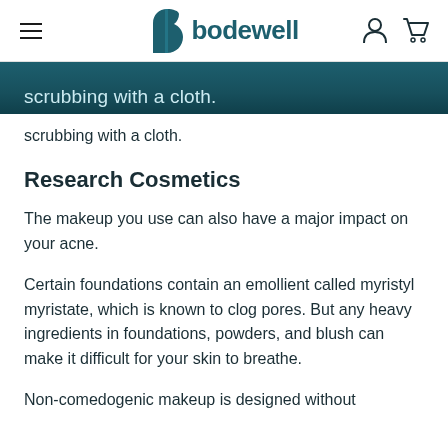bodewell
scrubbing with a cloth.
Research Cosmetics
The makeup you use can also have a major impact on your acne.
Certain foundations contain an emollient called myristyl myristate, which is known to clog pores. But any heavy ingredients in foundations, powders, and blush can make it difficult for your skin to breathe.
Non-comedogenic makeup is designed without